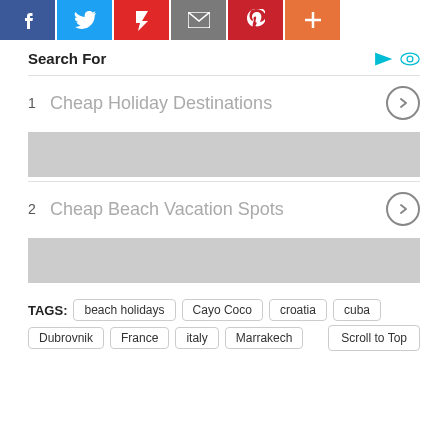[Figure (infographic): Social sharing buttons: Facebook (blue), Twitter (light blue), Flipboard (red), Email (grey), Pinterest (dark red), Plus/More (orange)]
Search For
1  Cheap Holiday Destinations
[Figure (other): Grey advertisement placeholder block]
2  Cheap Beach Vacation Spots
[Figure (other): Grey advertisement placeholder block]
TAGS: beach holidays  Cayo Coco  croatia  cuba  Dubrovnik  France  italy  Marrakech  Scroll to Top